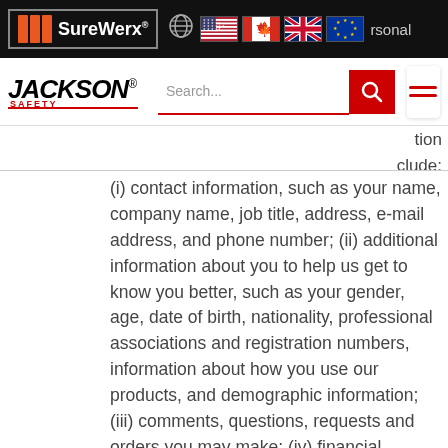[Figure (screenshot): SureWerx logo with navigation bar including globe icon and country flags (USA, Canada, UK, EU)]
[Figure (screenshot): Jackson Safety logo with search bar and hamburger menu navigation]
tion
clude:
(i) contact information, such as your name, company name, job title, address, e-mail address, and phone number; (ii) additional information about you to help us get to know you better, such as your gender, age, date of birth, nationality, professional associations and registration numbers, information about how you use our products, and demographic information; (iii) comments, questions, requests and orders you may make; (iv) financial information needed to process payments if you make purchases, such as credit card or account information or tax identification numbers; and